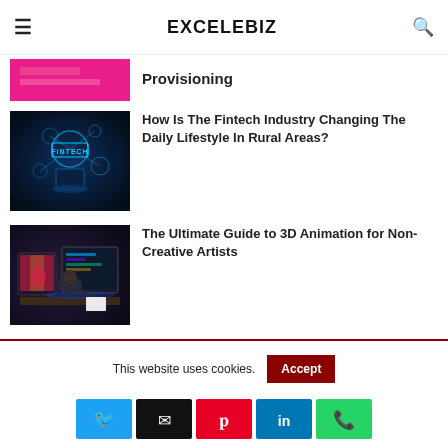EXCELEBIZ
[Figure (photo): Partial pink/magenta colored image (top of article thumbnail, cropped)]
Provisioning
[Figure (photo): Dark blue fintech themed image with glowing circuit icons and 'FINTECH' label, person holding tablet]
How Is The Fintech Industry Changing The Daily Lifestyle In Rural Areas?
[Figure (photo): Person seen from behind working at a computer setup with multiple monitors showing 3D animation software]
The Ultimate Guide to 3D Animation for Non-Creative Artists
This website uses cookies.
Accept
[Figure (infographic): Social media sharing buttons: Twitter (blue), Email (black), Pinterest (red), LinkedIn (blue), WhatsApp (green)]